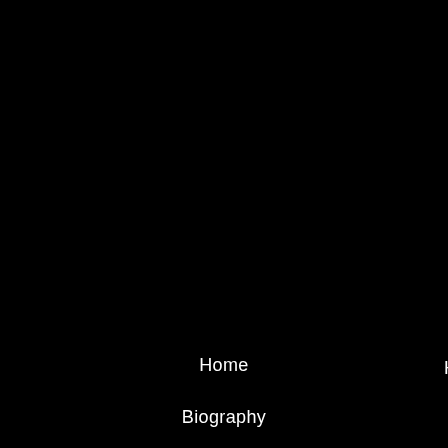[Figure (photo): Dark/black background image taking up the full page, possibly a night scene or heavily underexposed photograph]
Home
Biography